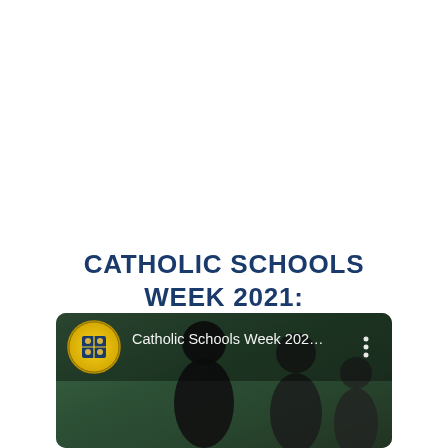CATHOLIC SCHOOLS WEEK 2021: KNIGHTS' SHOWCASE
[Figure (screenshot): Video thumbnail showing children with a Notre Dame Academy Elementary school logo circle in the top left and the text 'Catholic Schools Week 202...' with a three-dot menu icon on the right, overlaid on a dark green background with silhouetted figures.]